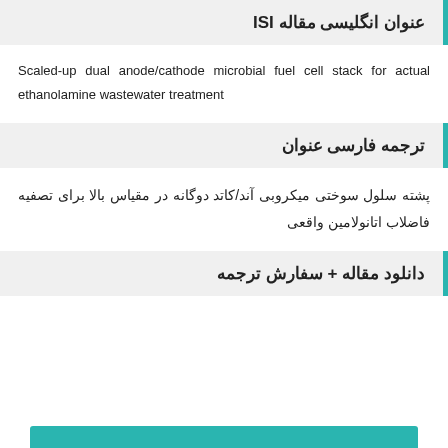عنوان انگلیسی مقاله ISI
Scaled-up dual anode/cathode microbial fuel cell stack for actual ethanolamine wastewater treatment
ترجمه فارسی عنوان
پشته سلول سوختی میکروبی آند/کاتد دوگانه در مقیاس بالا برای تصفیه فاضلاب اتانولامین واقعی
دانلود مقاله + سفارش ترجمه